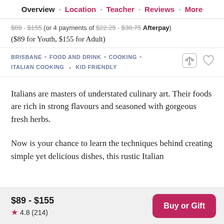Overview · Location · Teacher · Reviews · More
$89 · $155 (or 4 payments of $22.25 · $38.75 Afterpay)
($89 for Youth, $155 for Adult)
BRISBANE · FOOD AND DRINK · COOKING · ITALIAN COOKING · KID FRIENDLY
Italians are masters of understated culinary art. Their foods are rich in strong flavours and seasoned with gorgeous fresh herbs.
Now is your chance to learn the techniques behind creating simple yet delicious dishes, this rustic Italian
$89 - $155  ★ 4.8 (214)  Buy or Gift